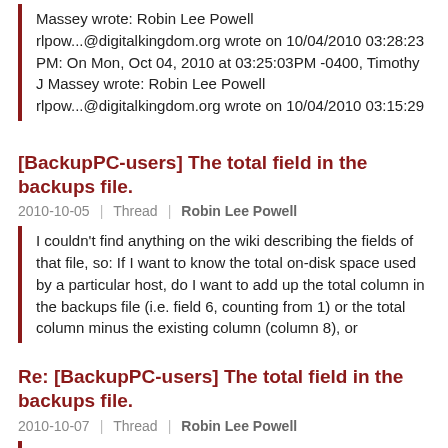Massey wrote: Robin Lee Powell rlpow...@digitalkingdom.org wrote on 10/04/2010 03:28:23 PM: On Mon, Oct 04, 2010 at 03:25:03PM -0400, Timothy J Massey wrote: Robin Lee Powell rlpow...@digitalkingdom.org wrote on 10/04/2010 03:15:29
[BackupPC-users] The total field in the backups file.
2010-10-05 | Thread | Robin Lee Powell
I couldn't find anything on the wiki describing the fields of that file, so: If I want to know the total on-disk space used by a particular host, do I want to add up the total column in the backups file (i.e. field 6, counting from 1) or the total column minus the existing column (column 8), or
Re: [BackupPC-users] The total field in the backups file.
2010-10-07 | Thread | Robin Lee Powell
Is the format written up anywhere? -Robin On Tue, Oct 05, 2010 at 11:36:08AM -0700, Robin Lee Powell wrote: I couldn't find anything on the wiki describing the fields of that file, so: If I want to know the total on-disk space used by a particular host, do I want to add up the total